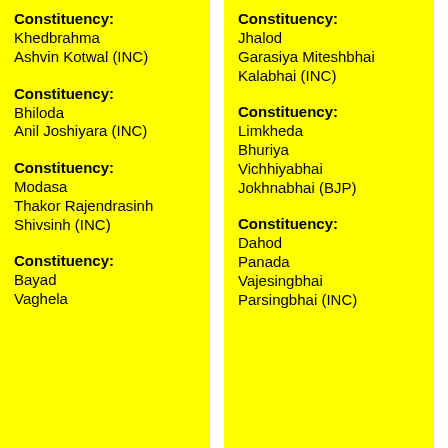Constituency: Khedbrahma
Ashvin Kotwal (INC)
Constituency: Bhiloda
Anil Joshiyara (INC)
Constituency: Modasa
Thakor Rajendrasinh Shivsinh (INC)
Constituency: Bayad
Vaghela
Constituency: Jhalod
Garasiya Miteshbhai Kalabhai (INC)
Constituency: Limkheda
Bhuriya Vichhiyabhai Jokhnabhai (BJP)
Constituency: Dahod
Panada Vajesingbhai Parsingbhai (INC)